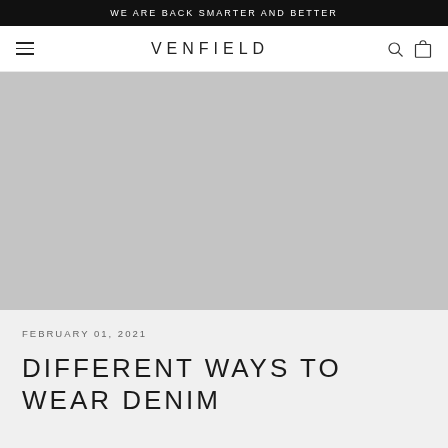WE ARE BACK SMARTER AND BETTER
VENFIELD
[Figure (photo): Large gray placeholder hero image for a fashion blog post about denim]
FEBRUARY 01, 2021
DIFFERENT WAYS TO WEAR DENIM